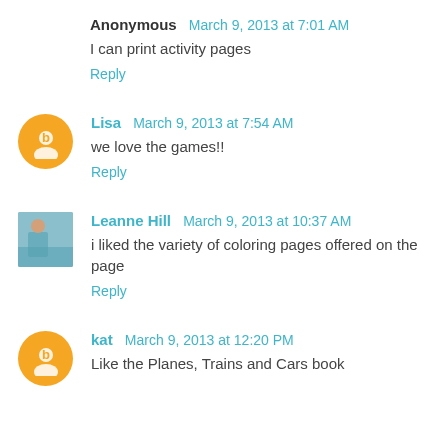Anonymous March 9, 2013 at 7:01 AM
I can print activity pages
Reply
Lisa March 9, 2013 at 7:54 AM
we love the games!!
Reply
Leanne Hill March 9, 2013 at 10:37 AM
i liked the variety of coloring pages offered on the page
Reply
kat March 9, 2013 at 12:20 PM
Like the Planes, Trains and Cars book